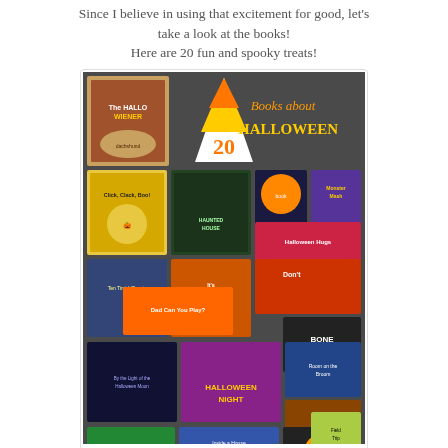Since I believe in using that excitement for good, let's take a look at the books! Here are 20 fun and spooky treats!
[Figure (illustration): A collage poster showing 20 Halloween-themed children's books arranged in a grid on a dark gray background. The poster title reads '20 Books about HALLOWEEN' with a candy corn graphic. Book covers include titles such as 'The Hallo-Wiener', 'Bone Soup', 'Halloween Night', and others.]